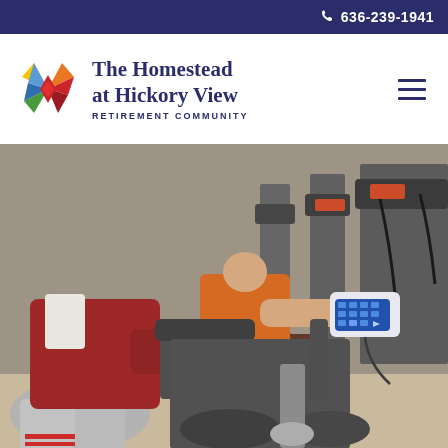636-239-1941
[Figure (logo): The Homestead at Hickory View Retirement Community logo with colorful pinwheel star and navy text]
[Figure (photo): Two people using elliptical exercise machines in a gym, one wearing red sweater and grey pants, another in orange top. Gym equipment visible in background.]